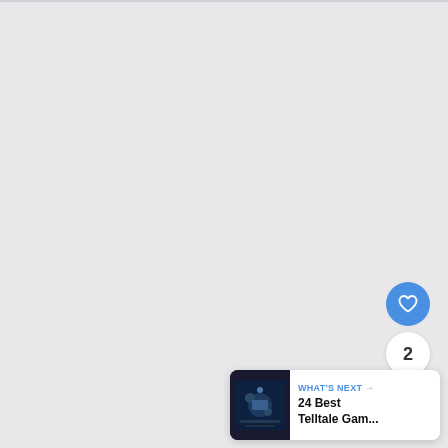[Figure (screenshot): UI overlay on light gray background showing a like button (blue circle with heart icon), a count bubble showing '2', a share button (white circle with share icon), and a 'WHAT'S NEXT' card at bottom right with a thumbnail image and text '24 Best Telltale Gam...']
2
WHAT'S NEXT → 24 Best Telltale Gam...